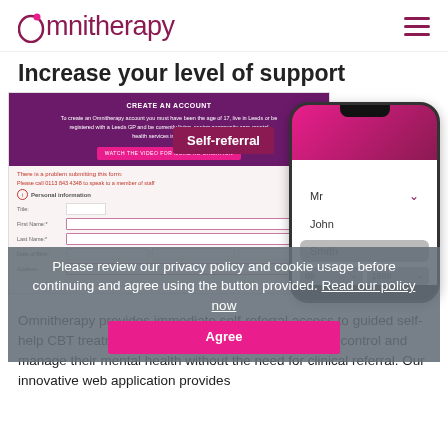Omnitherapy
Increase your level of support
[Figure (screenshot): Screenshot of Omnitherapy web form 'Create an Account' with purple header and form fields (Title, First Name, Last Name, Date of Birth), alongside a phone mockup showing a self-referral form with fields: Mr (dropdown), John, Smith, date fields; Self-referral badge visible; privacy/cookie consent overlay with 'Read our policy now' link and 'Agree' button.]
Omnitherapy provides immediate self-referral access to guided self-help CBT treatment, enabling your employees to take control and manage their mental health without the need for clinical referral. Our innovative web application provides